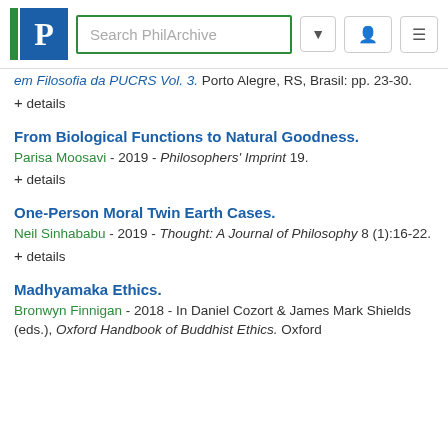Search PhilArchive
em Filosofia da PUCRS Vol. 3. Porto Alegre, RS, Brasil: pp. 23-30.
+ details
From Biological Functions to Natural Goodness.
Parisa Moosavi - 2019 - Philosophers' Imprint 19.
+ details
One-Person Moral Twin Earth Cases.
Neil Sinhababu - 2019 - Thought: A Journal of Philosophy 8 (1):16-22.
+ details
Madhyamaka Ethics.
Bronwyn Finnigan - 2018 - In Daniel Cozort & James Mark Shields (eds.), Oxford Handbook of Buddhist Ethics. Oxford